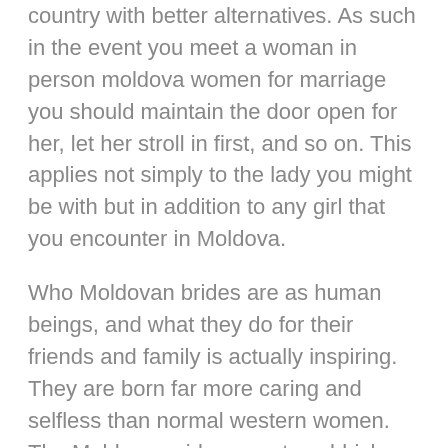country with better alternatives. As such in the event you meet a woman in person moldova women for marriage you should maintain the door open for her, let her stroll in first, and so on. This applies not simply to the lady you might be with but in addition to any girl that you encounter in Moldova.
Who Moldovan brides are as human beings, and what they do for their friends and family is actually inspiring. They are born far more caring and selfless than normal western women. The Moldovan girls are not snobbish about their training or achievements and would by no means use those issues towards you. They are comparatively type human beings with an unmatched heat. All these traits inspire you to be extra sort and forgiving.